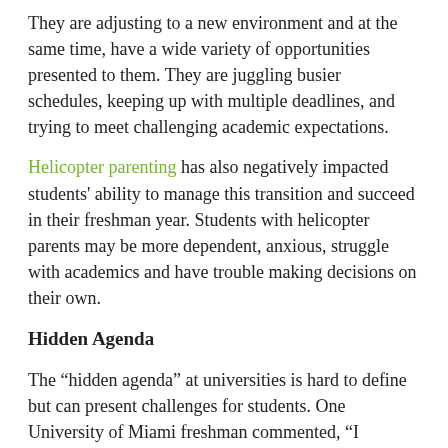They are adjusting to a new environment and at the same time, have a wide variety of opportunities presented to them. They are juggling busier schedules, keeping up with multiple deadlines, and trying to meet challenging academic expectations.
Helicopter parenting has also negatively impacted students' ability to manage this transition and succeed in their freshman year. Students with helicopter parents may be more dependent, anxious, struggle with academics and have trouble making decisions on their own.
Hidden Agenda
The “hidden agenda” at universities is hard to define but can present challenges for students. One University of Miami freshman commented, “I expected my classes to be hard. I didn’t expect life to be so hard.” This can be especially true for special groups such as students with